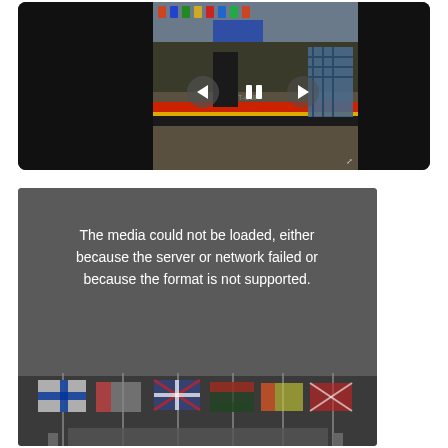[Figure (screenshot): Video player showing a motorsport/powerlifting event with flags visible. The player has a dark background with a central image showing an outdoor event venue with flags, barriers with red/yellow/black coloring, and spectators. Navigation arrows (left and right) and a pause button are overlaid on the video.]
[Figure (screenshot): Media error box with dark gray background showing the message 'The media could not be loaded, either because the server or network failed or because the format is not supported.' with flags visible at the bottom of the frame.]
The media could not be loaded, either because the server or network failed or because the format is not supported.